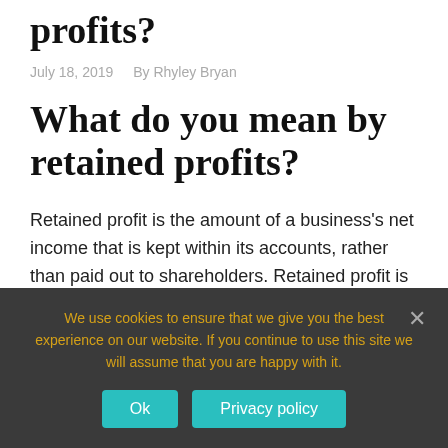profits?
July 18, 2019   By Rhyley Bryan
What do you mean by retained profits?
Retained profit is the amount of a business's net income that is kept within its accounts, rather than paid out to shareholders. Retained profit is a strong indicator of the long-term financial stability of a
We use cookies to ensure that we give you the best experience on our website. If you continue to use this site we will assume that you are happy with it.